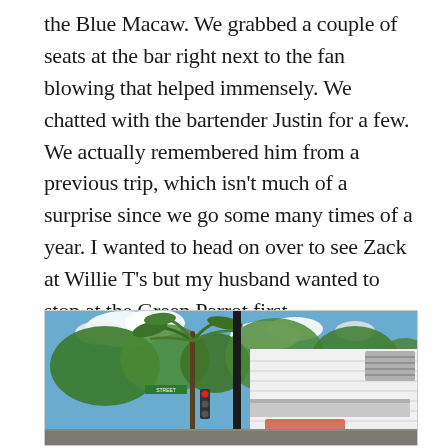the Blue Macaw. We grabbed a couple of seats at the bar right next to the fan blowing that helped immensely. We chatted with the bartender Justin for a few. We actually remembered him from a previous trip, which isn't much of a surprise since we go some many times of a year. I wanted to head on over to see Zack at Willie T's but my husband wanted to stop at the Green Parrot first.
[Figure (photo): Outdoor street-level photo showing a white wooden building with an awning, a palm tree, green street sign and traffic light in the foreground, blue sky with clouds and green trees in the background.]